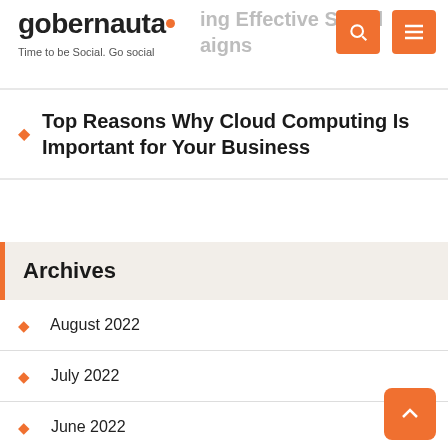gobernauta — Time to be Social. Go social
Implementing Effective Social Media Campaigns
Top Reasons Why Cloud Computing Is Important for Your Business
Archives
August 2022
July 2022
June 2022
May 2022
April 2022